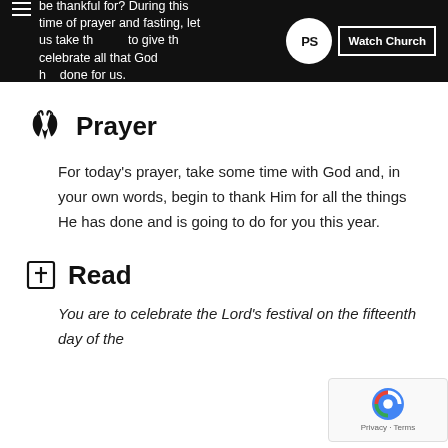be thankful for? During this time of prayer and fasting, let us take the time to give thanks and celebrate all that God has done for us.
Prayer
For today's prayer, take some time with God and, in your own words, begin to thank Him for all the things He has done and is going to do for you this year.
Read
You are to celebrate the Lord's festival on the fifteenth day of the